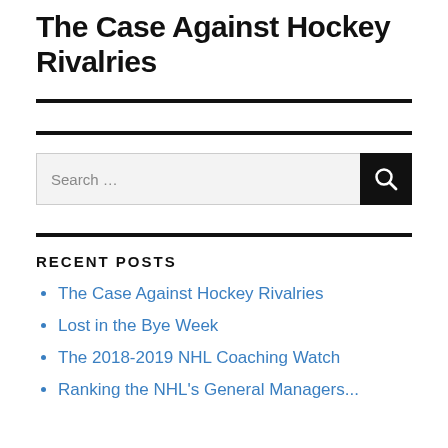The Case Against Hockey Rivalries
RECENT POSTS
The Case Against Hockey Rivalries
Lost in the Bye Week
The 2018-2019 NHL Coaching Watch
Ranking the NHL's General Managers...